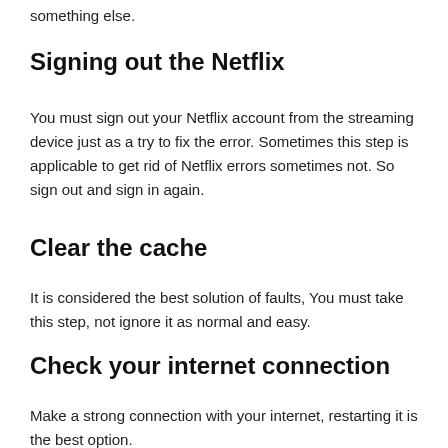something else.
Signing out the Netflix
You must sign out your Netflix account from the streaming device just as a try to fix the error. Sometimes this step is applicable to get rid of Netflix errors sometimes not. So sign out and sign in again.
Clear the cache
It is considered the best solution of faults, You must take this step, not ignore it as normal and easy.
Check your internet connection
Make a strong connection with your internet, restarting it is the best option.